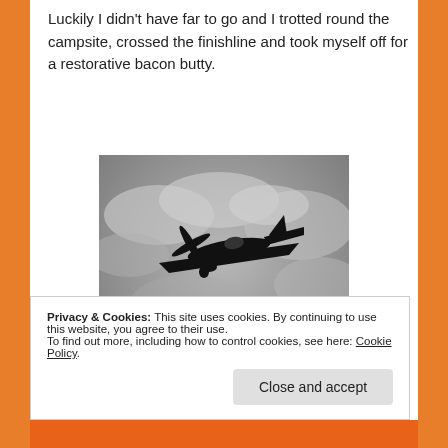Luckily I didn't have far to go and I trotted round the campsite, crossed the finishline and took myself off for a restorative bacon butty.
[Figure (photo): Black and white / greyscale photograph of a Spitfire airplane silhouetted against a cloudy grey sky, viewed from below.]
Privacy & Cookies: This site uses cookies. By continuing to use this website, you agree to their use.
To find out more, including how to control cookies, see here: Cookie Policy